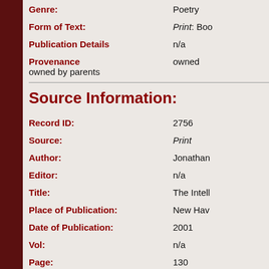Genre: Poetry
Form of Text: Print: Boo...
Publication Details n/a
Provenance owned
owned by parents
Source Information:
Record ID: 2756
Source: Print
Author: Jonathan...
Editor: n/a
Title: The Intell...
Place of Publication: New Hav...
Date of Publication: 2001
Vol: n/a
Page: 130